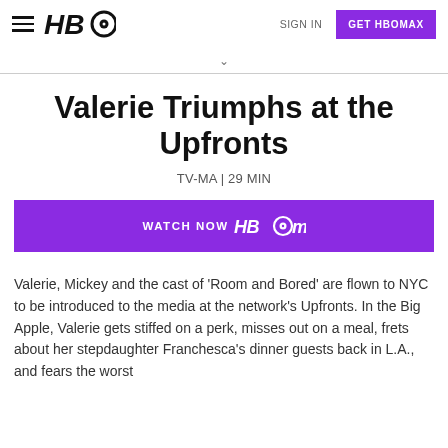HBO — SIGN IN  GET HBOMAX
Valerie Triumphs at the Upfronts
TV-MA | 29 MIN
[Figure (other): WATCH NOW HBOMAX button — purple call-to-action button]
Valerie, Mickey and the cast of 'Room and Bored' are flown to NYC to be introduced to the media at the network's Upfronts. In the Big Apple, Valerie gets stiffed on a perk, misses out on a meal, frets about her stepdaughter Franchesca's dinner guests back in L.A., and fears the worst